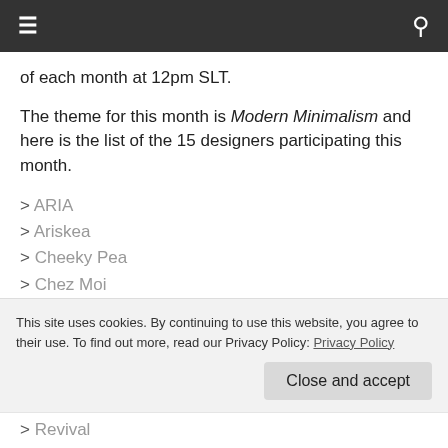☰  🔍
of each month at 12pm SLT.
The theme for this month is Modern Minimalism and here is the list of the 15 designers participating this month.
> ARIA
> Ariskea
> Cheeky Pea
> Chez Moi
> Di'Cor
> Ex Machina
This site uses cookies. By continuing to use this website, you agree to their use. To find out more, read our Privacy Policy: Privacy Policy
> Revival